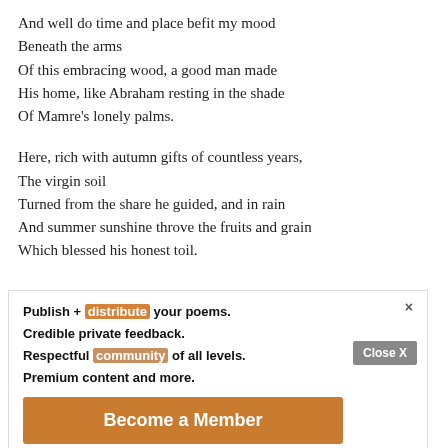And well do time and place befit my mood
Beneath the arms
Of this embracing wood, a good man made
His home, like Abraham resting in the shade
Of Mamre's lonely palms.
Here, rich with autumn gifts of countless years,
The virgin soil
Turned from the share he guided, and in rain
And summer sunshine throve the fruits and grain
Which blessed his honest toil.
Publish + distribute your poems.
Credible private feedback.
Respectful community of all levels.
Premium content and more.

Become a Member